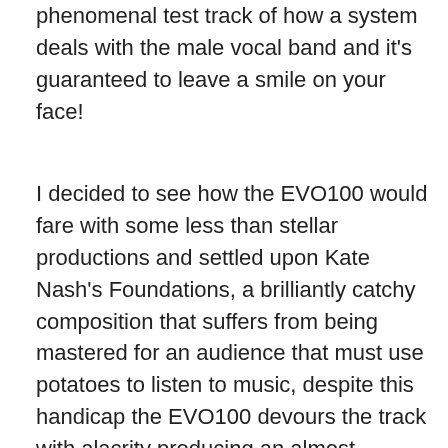phenomenal test track of how a system deals with the male vocal band and it's guaranteed to leave a smile on your face!
I decided to see how the EVO100 would fare with some less than stellar productions and settled upon Kate Nash's Foundations, a brilliantly catchy composition that suffers from being mastered for an audience that must use potatoes to listen to music, despite this handicap the EVO100 devours the track with alacrity producing an almost holographic soundstage and infectious timing that instantly gets that foot tapping away. The nasties of the production are still present, such as a slight hardness to the piano track doubtless thanks to the sheer level of compression, but the EVO100 still manages to deliver the cheeky, energetic nature of the track with a level of musicality that makes it almost impossible to ignore. Much